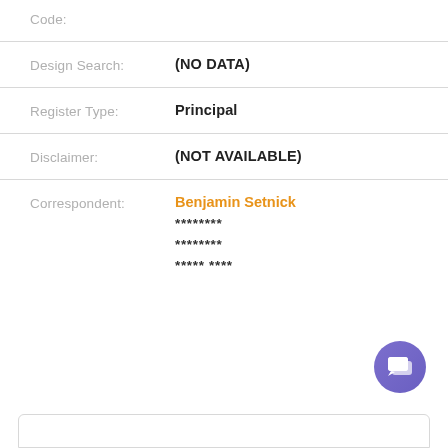Code:
Design Search: (NO DATA)
Register Type: Principal
Disclaimer: (NOT AVAILABLE)
Correspondent: Benjamin Setnick ******** ******** ***** ****